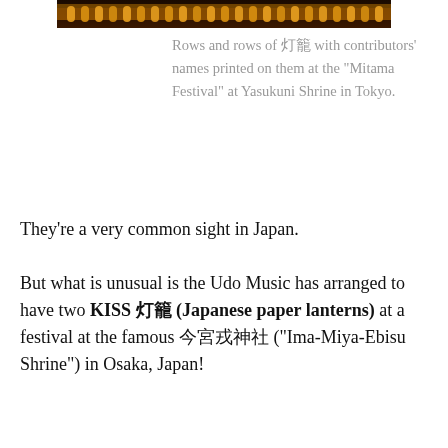[Figure (photo): Top portion of a photo showing rows of illuminated lanterns at night with orange/gold glow at the Mitama Festival, Yasukuni Shrine, Tokyo.]
Rows and rows of 灯籠 with contributors' names printed on them at the “Mitama Festival” at Yasukuni Shrine in Tokyo.
They’re a very common sight in Japan.
But what is unusual is the Udo Music has arranged to have two KISS 灯籠 (Japanese paper lanterns) at a festival at the famous 今宮戎神社 (“Ima-Miya-Ebisu Shrine”) in Osaka, Japan!
One says “Gene Simmons” and the other says “Paul Stanley”.
[Figure (photo): Two large red Japanese paper lanterns (chochin) with KISS band makeup designs painted on them, photographed up close.]